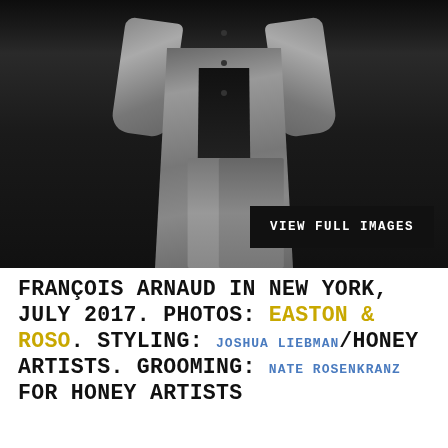[Figure (photo): Black and white photograph of François Arnaud wearing a long coat, vest, and wide-leg trousers, hands in pockets, against a dark background. A black button overlay reads VIEW FULL IMAGES.]
FRANÇOIS ARNAUD IN NEW YORK, JULY 2017. PHOTOS: EASTON & ROSO. STYLING: JOSHUA LIEBMAN/HONEY ARTISTS. GROOMING: NATE ROSENKRANZ FOR HONEY ARTISTS